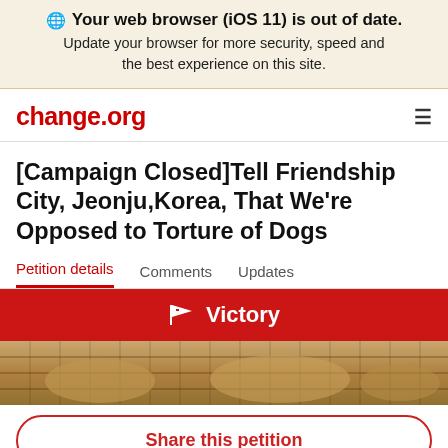Your web browser (iOS 11) is out of date. Update your browser for more security, speed and the best experience on this site.
change.org
[Campaign Closed]Tell Friendship City, Jeonju,Korea, That We're Opposed to Torture of Dogs
Petition details   Comments   Updates
Victory
[Figure (photo): Photo strip showing dogs behind a wire fence]
Share this petition